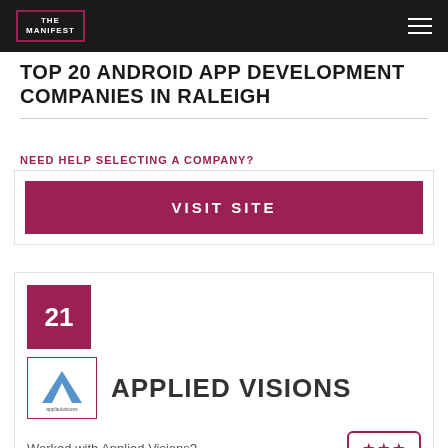THE MANIFEST
TOP 20 ANDROID APP DEVELOPMENT COMPANIES IN RALEIGH
NEED HELP SELECTING A COMPANY?
VISIT SITE
21
APPLIED VISIONS
Worked with Applied Visions?